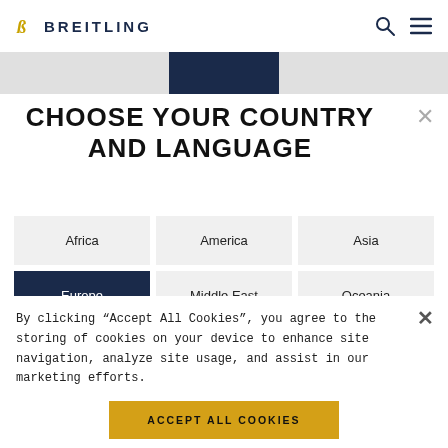BREITLING
CHOOSE YOUR COUNTRY AND LANGUAGE
Africa
America
Asia
Europe
Middle East
Oceania
By clicking “Accept All Cookies”, you agree to the storing of cookies on your device to enhance site navigation, analyze site usage, and assist in our marketing efforts.
ACCEPT ALL COOKIES